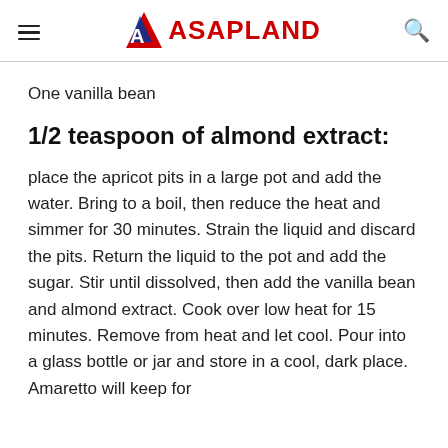ASAPLAND
One vanilla bean
1/2 teaspoon of almond extract:
place the apricot pits in a large pot and add the water. Bring to a boil, then reduce the heat and simmer for 30 minutes. Strain the liquid and discard the pits. Return the liquid to the pot and add the sugar. Stir until dissolved, then add the vanilla bean and almond extract. Cook over low heat for 15 minutes. Remove from heat and let cool. Pour into a glass bottle or jar and store in a cool, dark place. Amaretto will keep for